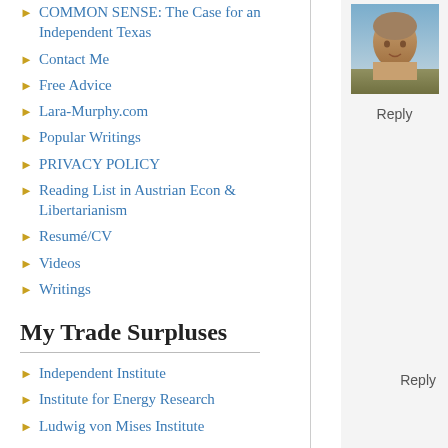COMMON SENSE: The Case for an Independent Texas
Contact Me
Free Advice
Lara-Murphy.com
Popular Writings
PRIVACY POLICY
Reading List in Austrian Econ & Libertarianism
Resumé/CV
Videos
Writings
[Figure (photo): Profile photo of a bald man outdoors]
Reply
My Trade Surpluses
Independent Institute
Institute for Energy Research
Ludwig von Mises Institute
Reply
Read at Your Own